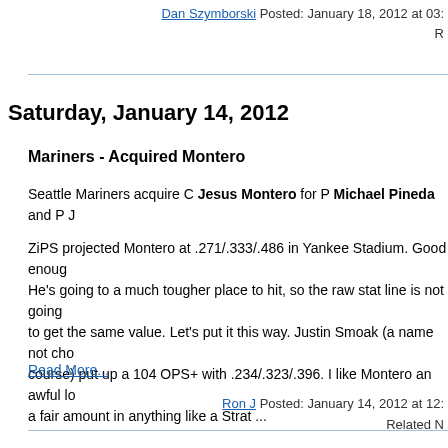Dan Szymborski Posted: January 18, 2012 at 03: R
Saturday, January 14, 2012
Mariners - Acquired Montero
Seattle Mariners acquire C Jesus Montero for P Michael Pineda and P J
ZiPS projected Montero at .271/.333/.486 in Yankee Stadium. Good enough He's going to a much tougher place to hit, so the raw stat line is not going to get the same value. Let's put it this way. Justin Smoak (a name not cho course) put up a 104 OPS+ with .234/.323/.396. I like Montero an awful lo a fair amount in anything like a Strat ...
Read More...
Ron J Posted: January 14, 2012 at 12: Related N